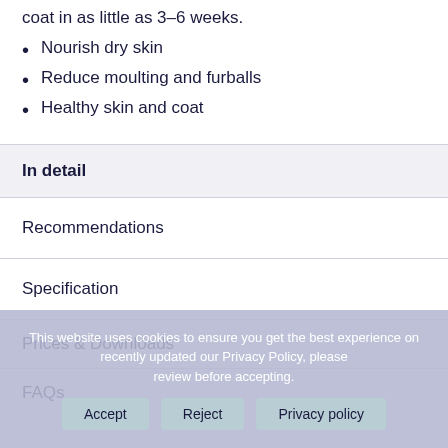coat in as little as 3-6 weeks.
Nourish dry skin
Reduce moulting and furballs
Healthy skin and coat
In detail
Recommendations
Specification
Prices & Downloads
FAQs
This website uses cookies to ensure you get the best experience on recently updated our Privacy Policy, please review before accepting
Accept
Reject
Privacy policy